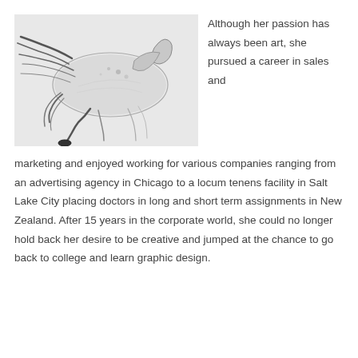[Figure (illustration): Pencil sketch drawing of a horse rearing or leaping, with flowing mane and tail, rendered in graphite on light background]
Although her passion has always been art, she pursued a career in sales and marketing and enjoyed working for various companies ranging from an advertising agency in Chicago to a locum tenens facility in Salt Lake City placing doctors in long and short term assignments in New Zealand. After 15 years in the corporate world, she could no longer hold back her desire to be creative and jumped at the chance to go back to college and learn graphic design.